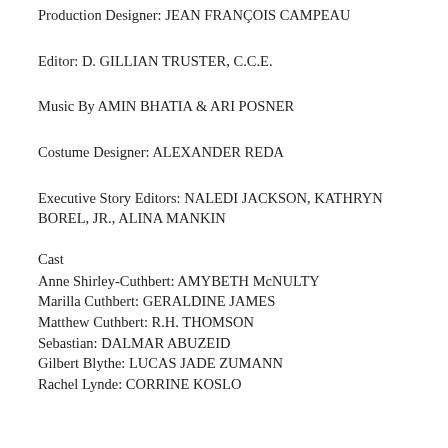Production Designer: JEAN FRANÇOIS CAMPEAU
Editor: D. GILLIAN TRUSTER, C.C.E.
Music By AMIN BHATIA & ARI POSNER
Costume Designer: ALEXANDER REDA
Executive Story Editors: NALEDI JACKSON, KATHRYN BOREL, JR., ALINA MANKIN
Cast
Anne Shirley-Cuthbert: AMYBETH McNULTY
Marilla Cuthbert: GERALDINE JAMES
Matthew Cuthbert: R.H. THOMSON
Sebastian: DALMAR ABUZEID
Gilbert Blythe: LUCAS JADE ZUMANN
Rachel Lynde: CORRINE KOSLO